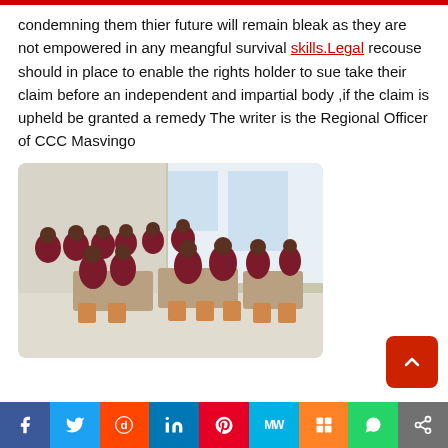condemning them thier future will remain bleak as they are not empowered in any meangful survival skills.Legal recouse should in place to enable the rights holder to sue take their claim before an independent and impartial body ,if the claim is upheld be granted a remedy The writer is the Regional Officer of CCC Masvingo
[Figure (photo): School children in maroon uniforms sitting at desks in a bright classroom cafeteria, eating lunch.]
[Figure (infographic): Social media sharing bar with icons for Facebook, Twitter, Reddit, LinkedIn, Pinterest, MW, Mix, WhatsApp, and share.]